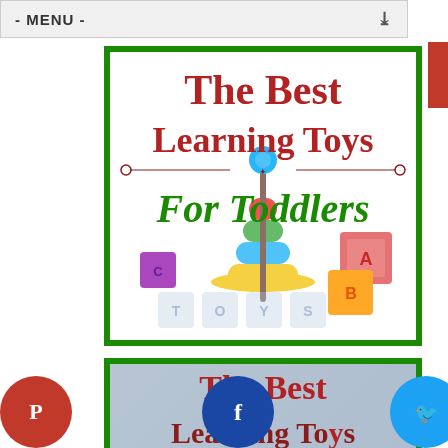- MENU -
[Figure (illustration): Promotional card for 'The Best Learning Toys For Toddlers' with stacking rings toy and alphabet blocks on white background with green border]
[Figure (illustration): Second promotional card partially visible showing 'The Best Learning To...' text with child in background, green border]
[Figure (other): Social sharing buttons: Pinterest (red), Facebook (blue), Twitter (light blue), SMS (dark blue), Crown (dark blue)]